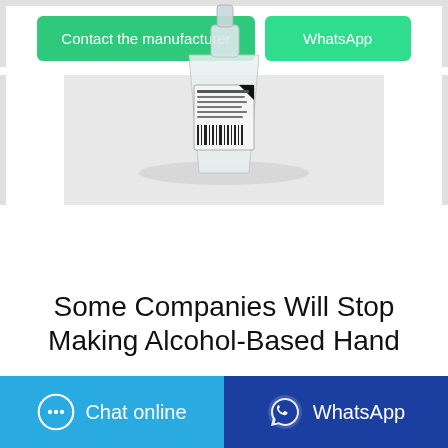[Figure (other): Two green buttons: 'Contact the manufacturer' and 'WhatsApp']
[Figure (photo): Small clear hand sanitizer bottle with label and barcode, photographed against a white to gray gradient background]
Some Companies Will Stop Making Alcohol-Based Hand
[Figure (other): Two bottom bar buttons: blue 'Chat online' button with chat bubble icon, and dark blue 'WhatsApp' button with WhatsApp icon]